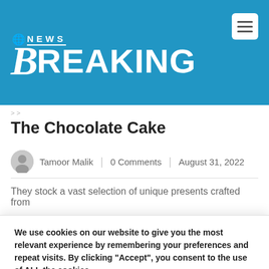[Figure (logo): Breaking News logo with blue background, stylized B and BREAKING text in white]
The Chocolate Cake
Tamoor Malik | 0 Comments | August 31, 2022
They stock a vast selection of unique presents crafted from
We use cookies on our website to give you the most relevant experience by remembering your preferences and repeat visits. By clicking “Accept”, you consent to the use of ALL the cookies.
Do not sell my personal information.